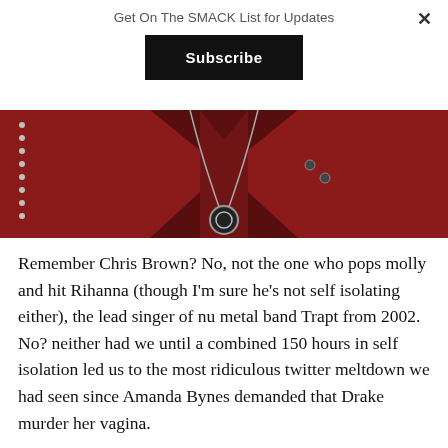Get On The SMACK List for Updates
Subscribe
[Figure (photo): Close-up of a person wearing a red leather jacket with studs and a circular pendant necklace, dark background]
Remember Chris Brown? No, not the one who pops molly and hit Rihanna (though I'm sure he's not self isolating either), the lead singer of nu metal band Trapt from 2002. No? neither had we until a combined 150 hours in self isolation led us to the most ridiculous twitter meltdown we had seen since Amanda Bynes demanded that Drake murder her vagina.